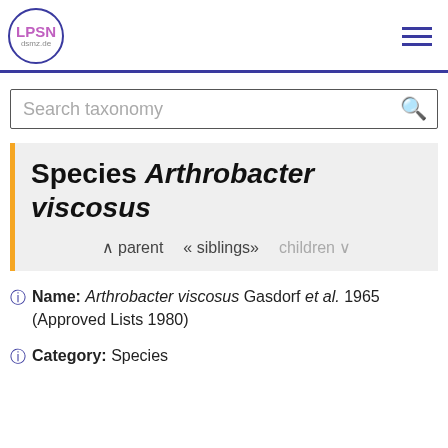LPSN dsmz.de
Search taxonomy
Species Arthrobacter viscosus
parent  « siblings »  children
Name: Arthrobacter viscosus Gasdorf et al. 1965 (Approved Lists 1980)
Category: Species